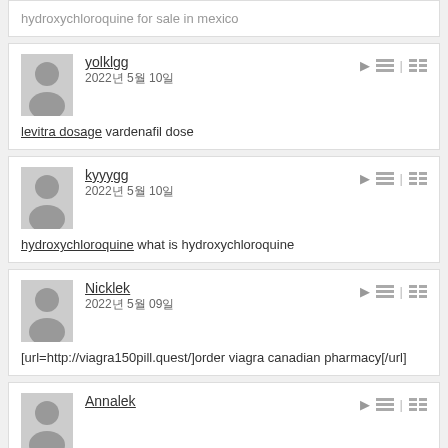hydroxychloroquine for sale in mexico
yolklgg
2022년 5월 10일
levitra dosage vardenafil dose
kyyygg
2022년 5월 10일
hydroxychloroquine what is hydroxychloroquine
Nicklek
2022년 5월 09일
[url=http://viagra150pill.quest/]order viagra canadian pharmacy[/url]
Annalek